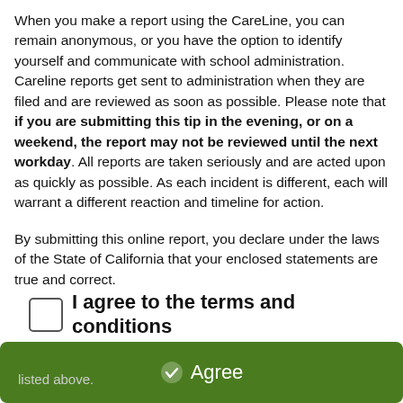When you make a report using the CareLine, you can remain anonymous, or you have the option to identify yourself and communicate with school administration. Careline reports get sent to administration when they are filed and are reviewed as soon as possible. Please note that if you are submitting this tip in the evening, or on a weekend, the report may not be reviewed until the next workday. All reports are taken seriously and are acted upon as quickly as possible. As each incident is different, each will warrant a different reaction and timeline for action.
By submitting this online report, you declare under the laws of the State of California that your enclosed statements are true and correct.
I agree to the terms and conditions listed above.